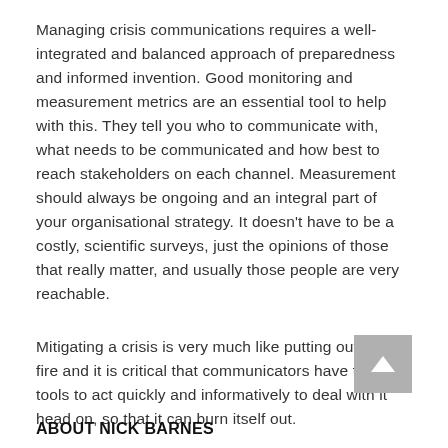Managing crisis communications requires a well-integrated and balanced approach of preparedness and informed invention.  Good monitoring and measurement metrics are an essential tool to help with this.  They tell you who to communicate with, what needs to be communicated and how best to reach stakeholders on each channel.  Measurement should always be ongoing and an integral part of your organisational strategy.  It doesn't have to be a costly, scientific surveys, just the opinions of those that really matter, and usually those people are very reachable.
Mitigating a crisis is very much like putting out a real fire and it is critical that communicators have the tools to act quickly and informatively to deal with it head on, so that it can burn itself out.
ABOUT NICK BARNES